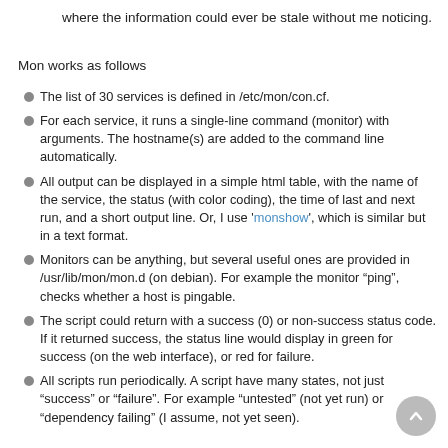where the information could ever be stale without me noticing.
Mon works as follows
The list of 30 services is defined in /etc/mon/con.cf.
For each service, it runs a single-line command (monitor) with arguments. The hostname(s) are added to the command line automatically.
All output can be displayed in a simple html table, with the name of the service, the status (with color coding), the time of last and next run, and a short output line. Or, I use 'monshow', which is similar but in a text format.
Monitors can be anything, but several useful ones are provided in /usr/lib/mon/mon.d (on debian). For example the monitor "ping" checks whether a host is pingable.
The script could return with a success (0) or non-success status code. If it returned success, the status line would display in green for success (on the web interface), or red for failure.
All scripts run periodically. A script have many states, not just "success" or "failure". For example "untested" (not yet run) or "dependency failing" (I assume, not yet seen).